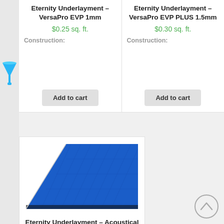Eternity Underlayment – VersaPro EVP 1mm
$0.25 sq. ft.
Construction:
Add to cart
Eternity Underlayment – VersaPro EVP PLUS 1.5mm
$0.30 sq. ft.
Construction:
Add to cart
[Figure (photo): Blue textured underlayment mat photographed at an angle on a white surface]
Eternity Underlayment – Acoustical Zero Slip 1.5mm